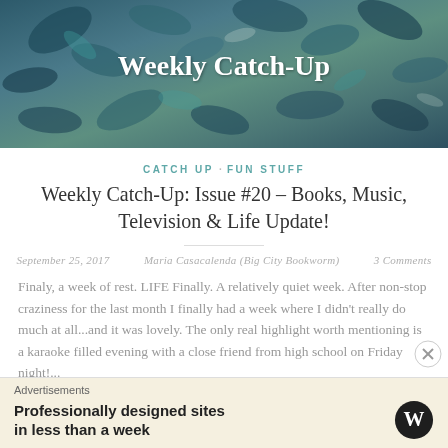[Figure (illustration): Decorative blog header banner with teal/blue botanical leaf pattern background and 'Weekly Catch-Up' text in white bold serif font]
CATCH UP · FUN STUFF
Weekly Catch-Up: Issue #20 – Books, Music, Television & Life Update!
September 25, 2017    Maria Casacalenda (Big City Bookworm)    3 Comments
Finaly, a week of rest. LIFE Finally. A relatively quiet week. After non-stop craziness for the last month I finally had a week where I didn't really do much at all...and it was lovely. The only real highlight worth mentioning is a karaoke filled evening with a close friend from high school on Friday night!...
Continue reading
Advertisements
Professionally designed sites in less than a week